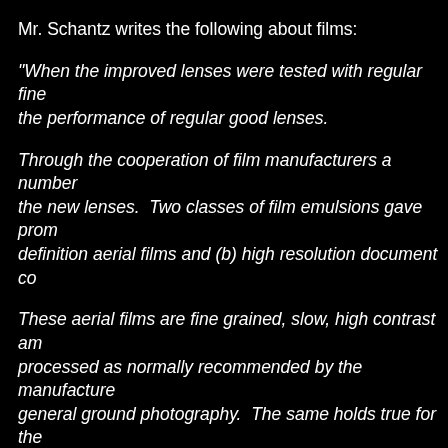Mr. Schantz writes the following about films:
"When the improved lenses were tested with regular fine the performance of regular good lenses.
Through the cooperation of film manufacturers a number the new lenses.  Two classes of film emulsions gave prom definition aerial films and (b) high resolution document co
These aerial films are fine grained, slow, high contrast am processed as normally recommended by the manufacture general ground photography.  The same holds true for the for high contrast microfilming.
Kodak High Contrast Copy Film when processed in the P Latitude Photography," Science and Eng. Vol. II Number resolution negatives with adequate film speed.  The Agfa combination of good resolution and emulsion speed."
According to the research done by Mr. Schantz, the host